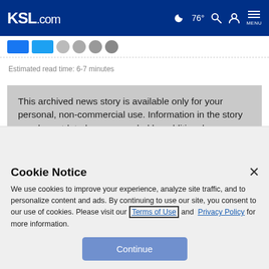KSL.com  76° [moon icon] [search icon] [account icon] MENU
Estimated read time: 6-7 minutes
This archived news story is available only for your personal, non-commercial use. Information in the story may be outdated or superseded by additional information. Reading or replaying the story in its
Cookie Notice
We use cookies to improve your experience, analyze site traffic, and to personalize content and ads. By continuing to use our site, you consent to our use of cookies. Please visit our Terms of Use and Privacy Policy for more information.
Continue